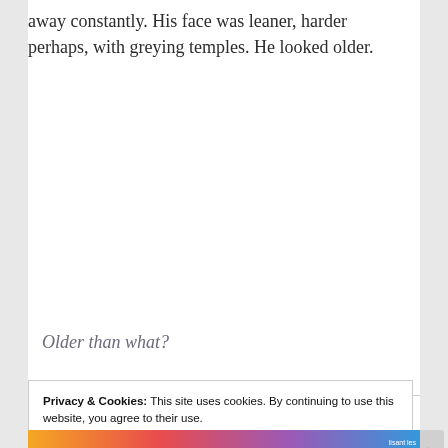away constantly. His face was leaner, harder perhaps, with greying temples. He looked older.
Older than what?
Privacy & Cookies: This site uses cookies. By continuing to use this website, you agree to their use.
To find out more, including how to control cookies, see here: Cookie Policy
Close and accept